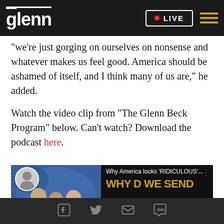glenn LIVE
"we're just gorging on ourselves on nonsense and whatever makes us feel good. America should be ashamed of itself, and I think many of us are," he added.
Watch the video clip from "The Glenn Beck Program" below. Can't watch? Download the podcast here.
[Figure (screenshot): Video thumbnail showing people on left with blue patterned background and text 'Why America looks RIDICULOUS...' on right side showing 'WHY D WE SEND' in large yellow letters on dark background]
Social share icons: Facebook, Twitter, Email, SMS